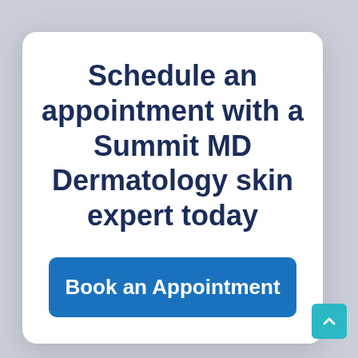Schedule an appointment with a Summit MD Dermatology skin expert today
Book an Appointment